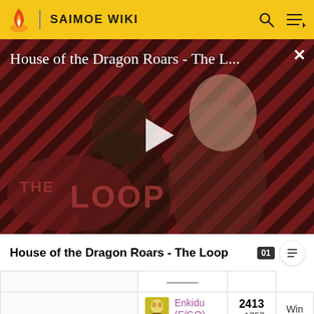SAIMOE WIKI
[Figure (screenshot): Video thumbnail for 'House of the Dragon Roars - The L...' showing two characters with diagonal striped background and THE LOOP logo, with a play button overlay]
House of the Dragon Roars - The Loop
| Character | Score | Result |
| --- | --- | --- |
| Enkidu (F/GO) | 2413 - 1757 | Win |
| Ri... | 1474 | ... |